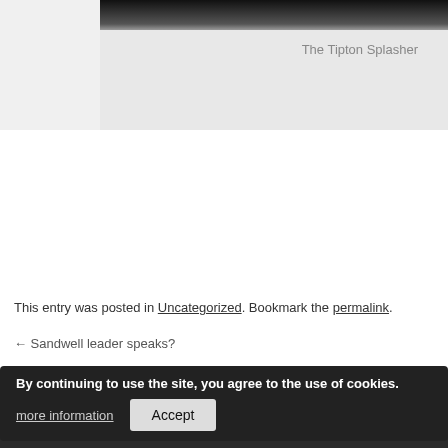[Figure (photo): Dark photograph strip at top of page]
The Tipton Splasher
This entry was posted in Uncategorized. Bookmark the permalink.
← Sandwell leader speaks?
By continuing to use the site, you agree to the use of cookies.
more information
Accept
Save Our San... Ge...